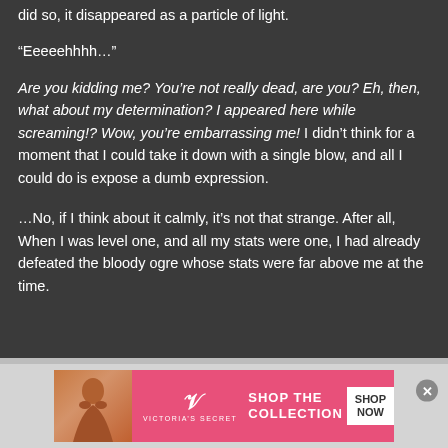did so, it disappeared as a particle of light.
“Eeeeehhhh…”
Are you kidding me? You’re not really dead, are you? Eh, then, what about my determination? I appeared here while screaming!? Wow, you’re embarrassing me! I didn’t think for a moment that I could take it down with a single blow, and all I could do is expose a dumb expression.
…No, if I think about it calmly, it’s not that strange. After all, When I was level one, and all my stats were one, I had already defeated the bloody ogre whose stats were far above me at the time.
[Figure (other): Victoria's Secret advertisement banner with model photo, VS logo, 'SHOP THE COLLECTION' text, and 'SHOP NOW' button]